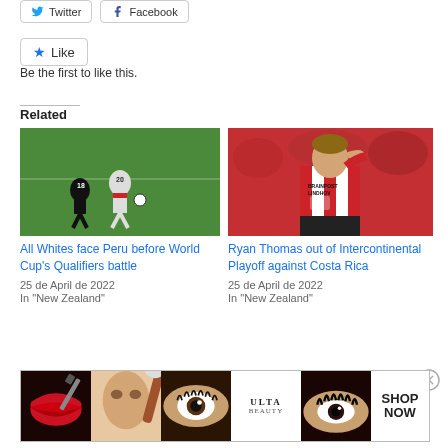[Figure (screenshot): Twitter and Facebook share buttons]
[Figure (screenshot): Like button with star icon and 'Be the first to like this.' text]
Be the first to like this.
Related
[Figure (photo): Soccer players - All Whites vs Peru]
All Whites face Peru before World Cup's Qualifiers battle
25 de April de 2022
In "New Zealand"
[Figure (photo): Ryan Thomas in red and white striped jersey with hand on head]
Ryan Thomas out of Intercontinental Playoff against Costa Rica
25 de April de 2022
In "New Zealand"
Advertisements
[Figure (screenshot): ULTA Beauty advertisement banner with makeup/beauty images and SHOP NOW button]